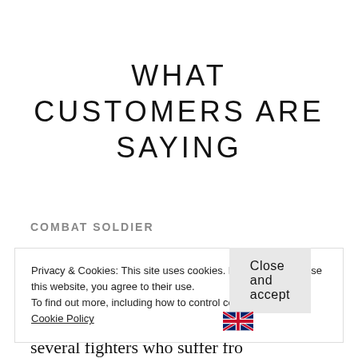WHAT CUSTOMERS ARE SAYING
COMBAT SOLDIER
“I represent an operational combat unit that
Privacy & Cookies: This site uses cookies. By continuing to use this website, you agree to their use.
To find out more, including how to control cookies, see here: Cookie Policy
Close and accept
several fighters who suffer fro